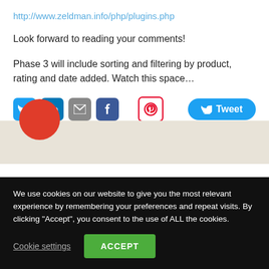http://www.zeldman.info/php/plugins.php
Look forward to reading your comments!
Phase 3 will include sorting and filtering by product, rating and date added. Watch this space…
[Figure (infographic): Social sharing buttons: Twitter, LinkedIn, Email, Facebook, Pinterest icons, and a Tweet button on the right]
[Figure (illustration): Beige/tan footer background area with partial red circle visible at bottom left]
We use cookies on our website to give you the most relevant experience by remembering your preferences and repeat visits. By clicking "Accept", you consent to the use of ALL the cookies.
Cookie settings  ACCEPT